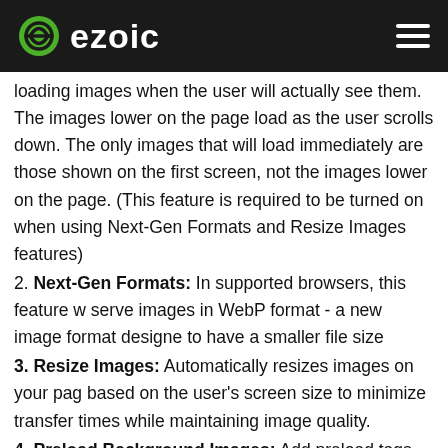ezoic
loading images when the user will actually see them. The images lower on the page load as the user scrolls down. The only images that will load immediately are those shown on the first screen, not the images lower on the page. (This feature is required to be turned on when using Next-Gen Formats and Resize Images features)
2. Next-Gen Formats: In supported browsers, this feature will serve images in WebP format - a new image format designed to have a smaller file size
3. Resize Images: Automatically resizes images on your page based on the user's screen size to minimize transfer times while maintaining image quality.
4. Preload Background Images: Add preload tags for background images defined in inline stylesheets. Background